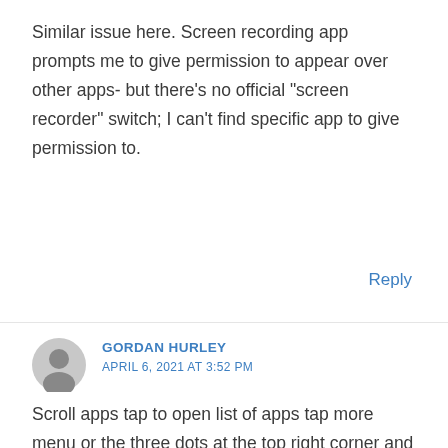Similar issue here. Screen recording app prompts me to give permission to appear over other apps- but there’s no official “screen recorder” switch; I can’t find specific app to give permission to.
Reply
GORDAN HURLEY
APRIL 6, 2021 AT 3:52 PM
Scroll apps tap to open list of apps tap more menu or the three dots at the top right corner and choose configure apps from drop-down